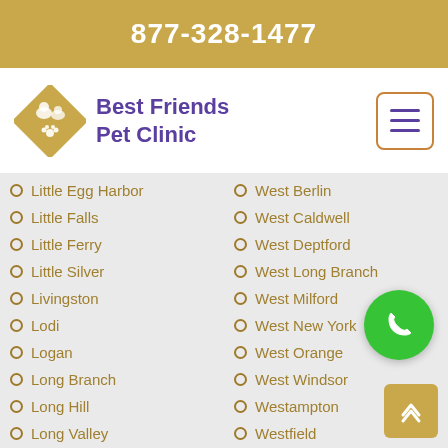877-328-1477
[Figure (logo): Best Friends Pet Clinic logo with diamond shape containing pet silhouettes and paw print]
Little Egg Harbor
West Berlin
Little Falls
West Caldwell
Little Ferry
West Deptford
Little Silver
West Long Branch
Livingston
West Milford
Lodi
West New York
Logan
West Orange
Long Branch
West Windsor
Long Hill
Westampton
Long Valley
Westfield
Lopatcong
Westville
Lower
Westwood